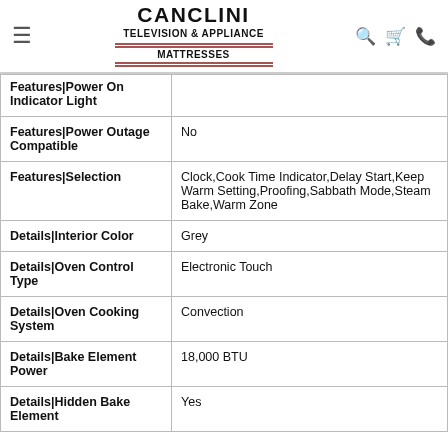CANCLINI TELEVISION & APPLIANCE MATTRESSES
| Feature | Value |
| --- | --- |
| Features|Power On Indicator Light |  |
| Features|Power Outage Compatible | No |
| Features|Selection | Clock,Cook Time Indicator,Delay Start,Keep Warm Setting,Proofing,Sabbath Mode,Steam Bake,Warm Zone |
| Details|Interior Color | Grey |
| Details|Oven Control Type | Electronic Touch |
| Details|Oven Cooking System | Convection |
| Details|Bake Element Power | 18,000 BTU |
| Details|Hidden Bake Element | Yes |